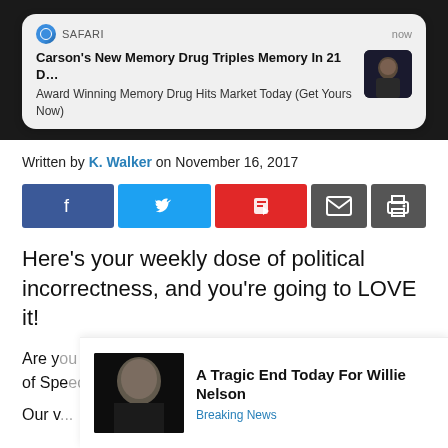[Figure (screenshot): Safari push notification banner showing ad: 'Carson's New Memory Drug Triples Memory In 21 D...' / 'Award Winning Memory Drug Hits Market Today (Get Yours Now)' with a thumbnail of a man]
Written by K. Walker on November 16, 2017
[Figure (infographic): Social media share buttons: Facebook, Twitter, Flipboard, Email, Print]
Here’s your weekly dose of political incorrectness, and you’re going to LOVE it!
Are y...om of Spe...
[Figure (screenshot): Ad overlay with photo of elderly man and text: 'A Tragic End Today For Willie Nelson' / 'Breaking News']
Our v... Rich Witm...